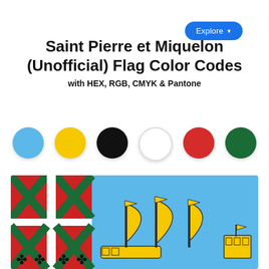Explore
Saint Pierre et Miquelon (Unofficial) Flag Color Codes
with HEX, RGB, CMYK & Pantone
[Figure (infographic): Six color circles representing the flag colors: blue, yellow, black, white, red, green]
[Figure (illustration): Flag of Saint Pierre et Miquelon showing a light blue field with a white canton containing four quarters with green X patterns on red backgrounds and white ermine symbols below, plus a yellow sailing ship on the blue field]